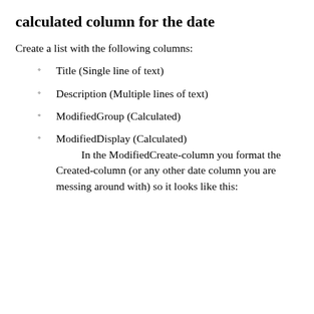calculated column for the date
Create a list with the following columns:
Title (Single line of text)
Description (Multiple lines of text)
ModifiedGroup (Calculated)
ModifiedDisplay (Calculated)
In the ModifiedCreate-column you format the Created-column (or any other date column you are messing around with) so it looks like this: